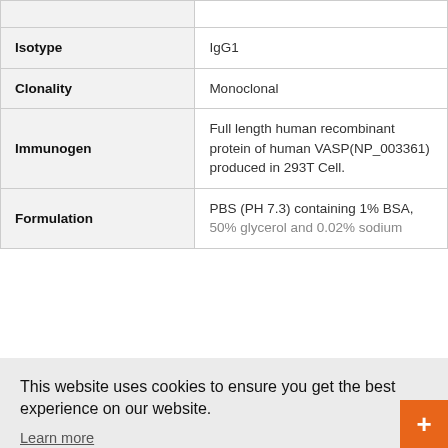| Property | Value |
| --- | --- |
| Isotype | IgG1 |
| Clonality | Monoclonal |
| Immunogen | Full length human recombinant protein of human VASP(NP_003361) produced in 293T Cell. |
| Formulation | PBS (PH 7.3) containing 1% BSA, 50% glycerol and 0.02% sodium... |
| Conjugation | Live Chat Online |
This website uses cookies to ensure you get the best experience on our website.
Learn more
Got it!